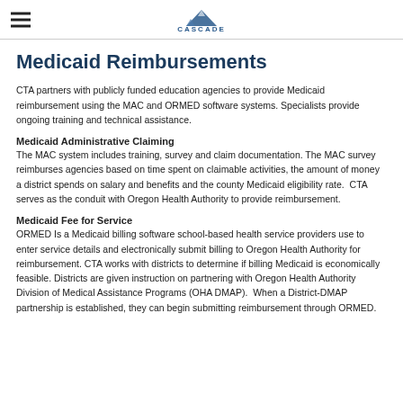CASCADE [logo]
Medicaid Reimbursements
CTA partners with publicly funded education agencies to provide Medicaid reimbursement using the MAC and ORMED software systems. Specialists provide ongoing training and technical assistance.
Medicaid Administrative Claiming
The MAC system includes training, survey and claim documentation. The MAC survey reimburses agencies based on time spent on claimable activities, the amount of money a district spends on salary and benefits and the county Medicaid eligibility rate.  CTA serves as the conduit with Oregon Health Authority to provide reimbursement.
Medicaid Fee for Service
ORMED Is a Medicaid billing software school-based health service providers use to enter service details and electronically submit billing to Oregon Health Authority for reimbursement. CTA works with districts to determine if billing Medicaid is economically feasible. Districts are given instruction on partnering with Oregon Health Authority Division of Medical Assistance Programs (OHA DMAP).  When a District-DMAP partnership is established, they can begin submitting reimbursement through ORMED.